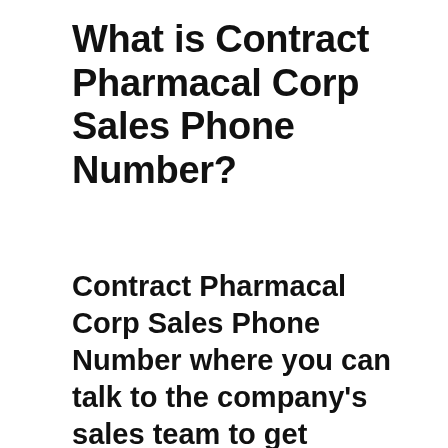What is Contract Pharmacal Corp Sales Phone Number?
Contract Pharmacal Corp Sales Phone Number where you can talk to the company's sales team to get assistance with a new purchase or inquiry about a service or a product is 631-231-4610